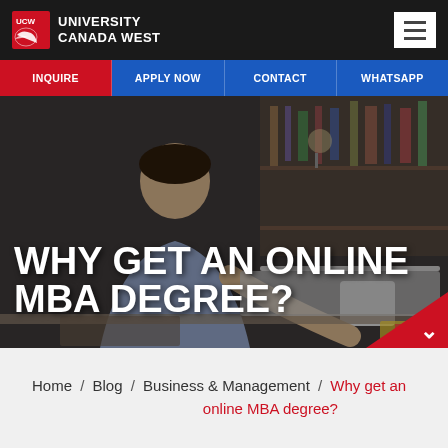UNIVERSITY CANADA WEST
INQUIRE
APPLY NOW
CONTACT
WHATSAPP
[Figure (photo): Man working on a laptop at a desk, dark background with bookshelves, with overlay text 'WHY GET AN ONLINE MBA DEGREE?']
WHY GET AN ONLINE MBA DEGREE?
Home / Blog / Business & Management / Why get an online MBA degree?